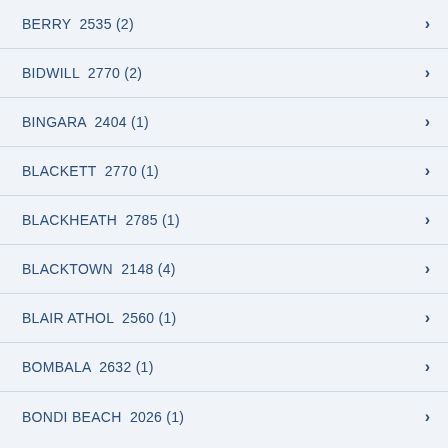BERRY  2535 (2)
BIDWILL  2770 (2)
BINGARA  2404 (1)
BLACKETT  2770 (1)
BLACKHEATH  2785 (1)
BLACKTOWN  2148 (4)
BLAIR ATHOL  2560 (1)
BOMBALA  2632 (1)
BONDI BEACH  2026 (1)